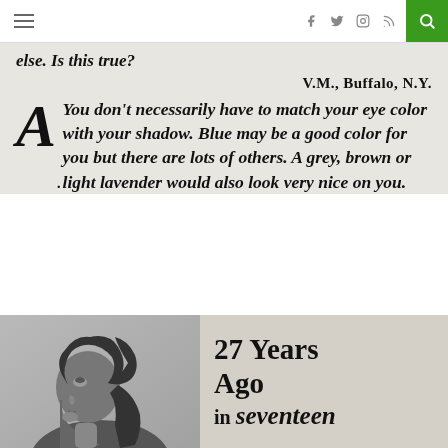Navigation bar with hamburger menu, social icons (f, twitter, instagram, rss), and search button
else. Is this true?
V.M., Buffalo, N.Y.
A. You don't necessarily have to match your eye color with your shadow. Blue may be a good color for you but there are lots of others. A grey, brown or light lavender would also look very nice on you.
[Figure (photo): Black and white profile portrait of a young woman with dark wavy hair, looking to the upper left]
27 Years Ago in seventeen